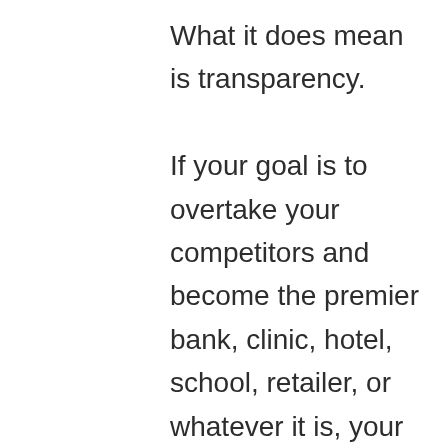What it does mean is transparency. If your goal is to overtake your competitors and become the premier bank, clinic, hotel, school, retailer, or whatever it is, your employees should know about it. They should also know about how you plan to get to that point. What changes should they enact? What hiccups should they be looking for? The obvious aside, let's not forget that our employees are consumers, too. Whatever your industry, your team members are living, breathing,